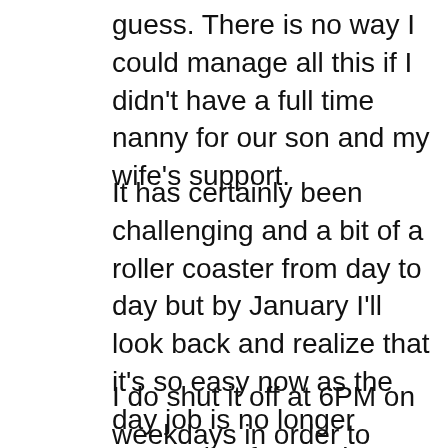guess. There is no way I could manage all this if I didn't have a full time nanny for our son and my wife's support.
It has certainly been challenging and a bit of a roller coaster from day to day but by January I'll look back and realize that it's so easy now as the day job is no longer competing for my time.
I do shut it off at 6PM on weekdays in order to have family dinner and do bath time with my son. I also try to keep weekend work to 4-6 hours. We started a tradition of going out to